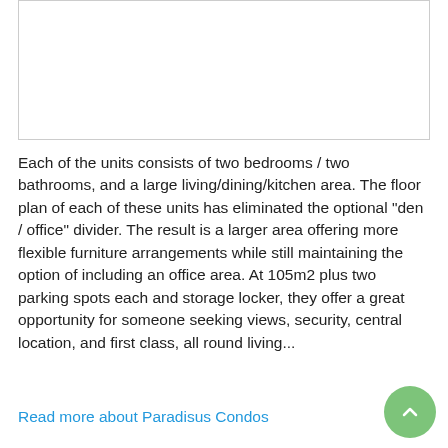[Figure (other): Empty white image placeholder with light gray border]
Each of the units consists of two bedrooms / two bathrooms, and a large living/dining/kitchen area. The floor plan of each of these units has eliminated the optional "den / office" divider. The result is a larger area offering more flexible furniture arrangements while still maintaining the option of including an office area. At 105m2 plus two parking spots each and storage locker, they offer a great opportunity for someone seeking views, security, central location, and first class, all round living...
Read more about Paradisus Condos